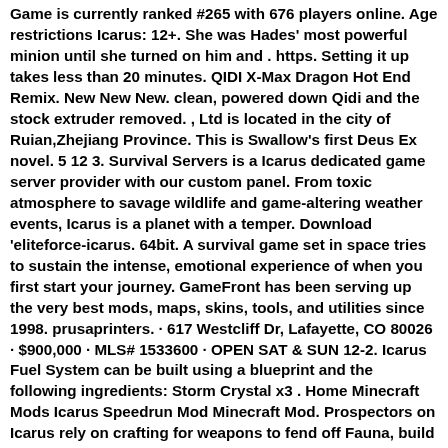Game is currently ranked #265 with 676 players online. Age restrictions Icarus: 12+. She was Hades' most powerful minion until she turned on him and . https. Setting it up takes less than 20 minutes. QIDI X-Max Dragon Hot End Remix. New New New. clean, powered down Qidi and the stock extruder removed. , Ltd is located in the city of Ruian,Zhejiang Province. This is Swallow's first Deus Ex novel. 5 12 3. Survival Servers is a Icarus dedicated game server provider with our custom panel. From toxic atmosphere to savage wildlife and game-altering weather events, Icarus is a planet with a temper. Download 'eliteforce-icarus. 64bit. A survival game set in space tries to sustain the intense, emotional experience of when you first start your journey. GameFront has been serving up the very best mods, maps, skins, tools, and utilities since 1998. prusaprinters. · 617 Westcliff Dr, Lafayette, CO 80026 · $900,000 · MLS# 1533600 · OPEN SAT & SUN 12-2. Icarus Fuel System can be built using a blueprint and the following ingredients: Storm Crystal x3 . Home Minecraft Mods Icarus Speedrun Mod Minecraft Mod. Prospectors on Icarus rely on crafting for weapons to fend off Fauna, build campfires to prepare food, build structures to survive the harsh weather, as well as tackle many other survival and advancement needs on Icarus. Compatibility with other mods and future patches: Mod is expected to survive game updates. SaaSHub - Software Alternatives and Reviews. You can find caves around cliffs; just be sure there are no cave worms inside. Last edited by